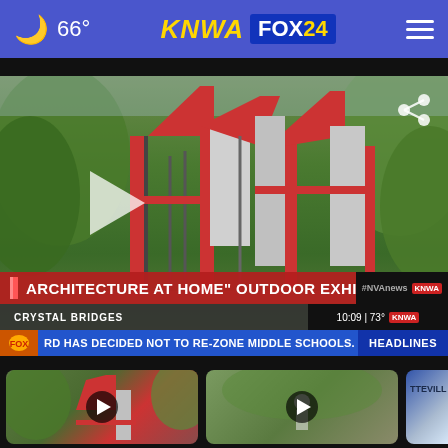66° KNWA FOX 24
[Figure (screenshot): Video thumbnail of an outdoor architectural sculpture exhibit at Crystal Bridges. Red and grey angular steel structure resembling stylized house forms set among green trees. Lower-third overlay reads 'ARCHITECTURE AT HOME OUTDOOR EXHIBIT / CRYSTAL BRIDGES'. Ticker reads 'RD HAS DECIDED NOT TO RE-ZONE MIDDLE SCHOOLS. THE NEW ZO...' with HEADLINES label. NVAnews/KNWA badge top right shows 10:09 | 73°.]
[Figure (screenshot): Small thumbnail video still of the same outdoor architectural sculpture, red and grey angular structure among trees.]
[Figure (screenshot): Small thumbnail video still of a person crouching outdoors in a park-like setting.]
[Figure (screenshot): Partially visible thumbnail with text 'TTEVILL A' visible, blue and light color tones.]